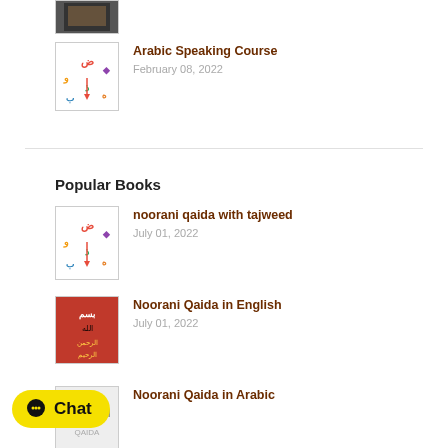[Figure (illustration): Partial thumbnail of a book/Quran image at top, mostly cropped]
Arabic Speaking Course
February 08, 2022
Popular Books
noorani qaida with tajweed
July 01, 2022
Noorani Qaida in English
July 01, 2022
Noorani Qaida in Arabic
[Figure (illustration): Yellow chat button with circle icon and text 'Chat']